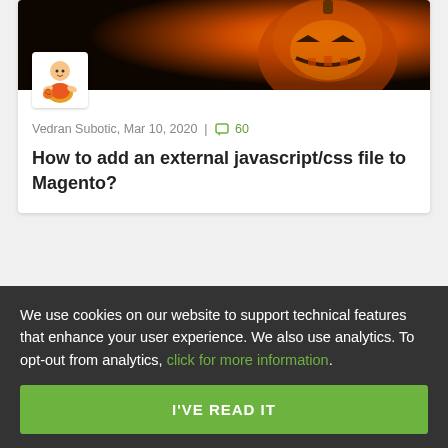[Figure (photo): Halloween pumpkin with glowing orange face carved into it, dark background]
Vedran Subotic, Mar 10, 2020 | 60
How to add an external javascript/css file to Magento?
1 comment
We use cookies on our website to support technical features that enhance your user experience. We also use analytics. To opt-out from analytics, click for more information.
I'VE READ IT